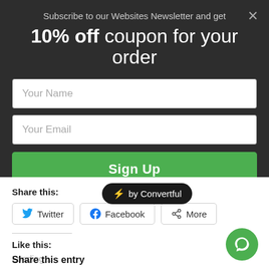Subscribe to our Websites Newsletter and get
10% off coupon for your order
Your Name
Your Email
Sign Up
Share this:
[Figure (other): Convertful badge with lightning bolt icon and text 'by Convertful' on dark rounded background]
Twitter
Facebook
More
Like this:
Loading...
Share this entry